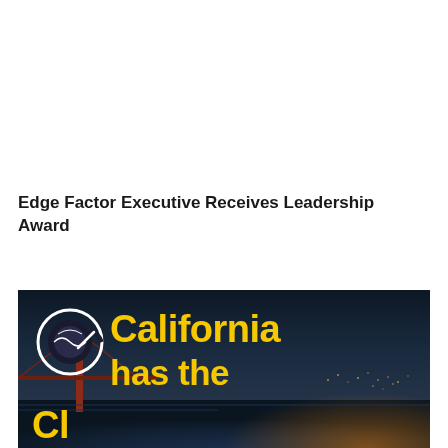Edge Factor Executive Receives Leadership Award
[Figure (photo): Dark nighttime photo of the Golden Gate Bridge with Edge Factor logo and text reading 'California has the' in bold yellow font on a dark background with city lights visible]